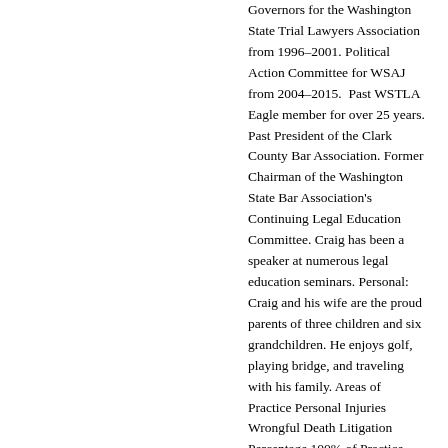Governors for the Washington State Trial Lawyers Association from 1996–2001. Political Action Committee for WSAJ from 2004–2015. Past WSTLA Eagle member for over 25 years. Past President of the Clark County Bar Association. Former Chairman of the Washington State Bar Association's Continuing Legal Education Committee. Craig has been a speaker at numerous legal education seminars. Personal: Craig and his wife are the proud parents of three children and six grandchildren. He enjoys golf, playing bridge, and traveling with his family. Areas of Practice Personal Injuries Wrongful Death Litigation Percentage 100% of Practice Devoted to Litigation Bar Admissions Washington, 1977 U.S.